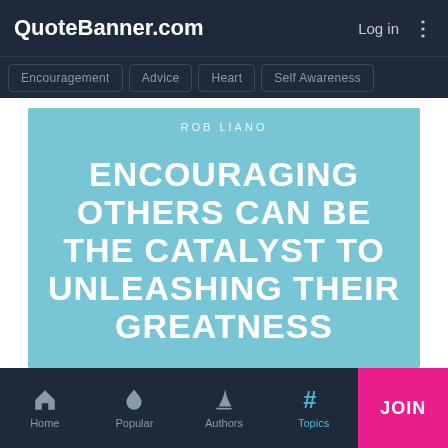QuoteBanner.com   Log in  ⋮
Encouragement  Advice  Heart  Self Awareness
[Figure (infographic): Quote banner on light blue background. Author: ROB LIANO. Quote text in white uppercase bold: ENCOURAGING OTHERS CAN BE THE CATALYST TO UNLEASHING THEIR GREATNESS]
Home  Popular  Authors  Topics  JOIN